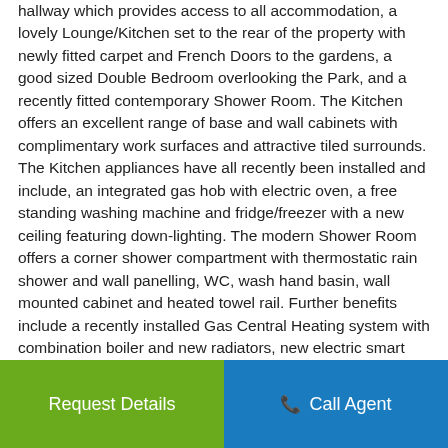hallway which provides access to all accommodation, a lovely Lounge/Kitchen set to the rear of the property with newly fitted carpet and French Doors to the gardens, a good sized Double Bedroom overlooking the Park, and a recently fitted contemporary Shower Room.  The Kitchen offers an excellent range of base and wall cabinets with complimentary work surfaces and attractive tiled surrounds.  The Kitchen appliances have all recently been installed and include, an integrated gas hob with electric oven, a free standing washing machine and fridge/freezer with a new ceiling featuring down-lighting. The modern Shower Room offers a corner shower compartment with thermostatic rain shower and wall panelling, WC, wash hand basin, wall mounted cabinet and heated towel rail.  Further benefits include a recently installed Gas Central Heating system with combination boiler and new radiators, new electric smart meter, new external gas meter and double glazing.  In addition electrical, gas and drainage fittings have been replaced throughout the property.  Externally there is a private gated driveway for two cars, un-restricted on street parking and attractive sunny rear gardens with patio area.   A lovely opportunity set within walking distance of excellent local amenities and beautiful outdoor green spaces with early viewing highly recommended.
Request Details | Call Agent